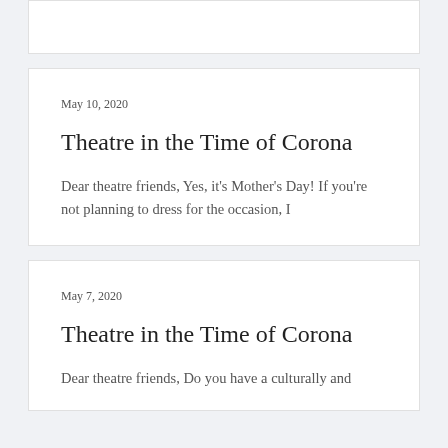May 10, 2020
Theatre in the Time of Corona
Dear theatre friends, Yes, it's Mother's Day! If you're not planning to dress for the occasion, I
May 7, 2020
Theatre in the Time of Corona
Dear theatre friends, Do you have a culturally and